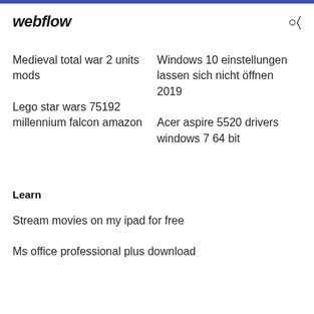webflow
Medieval total war 2 units mods
Windows 10 einstellungen lassen sich nicht öffnen 2019
Lego star wars 75192 millennium falcon amazon
Acer aspire 5520 drivers windows 7 64 bit
Learn
Stream movies on my ipad for free
Ms office professional plus download